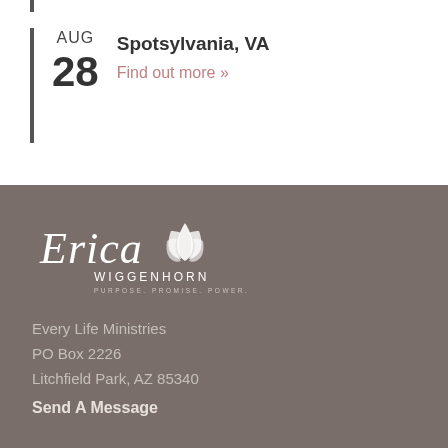AUG 28 — Spotsylvania, VA — Find out more »
[Figure (logo): Erica Wiggenhorn logo with cursive text and lotus flower, tagline: PURPOSE. PROMISE. POWER.]
Every Life Ministries
PO Box 2226
Litchfield Park, AZ 85340
Send A Message